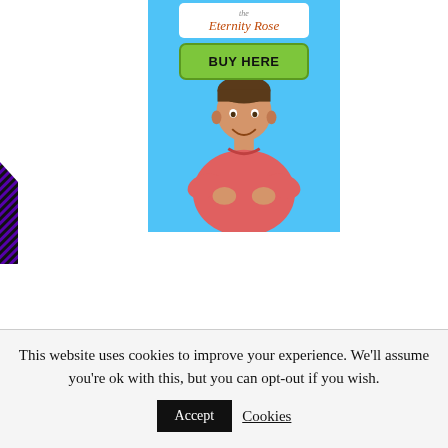[Figure (illustration): Advertisement banner for 'The Eternity Rose' with logo, green BUY HERE button, light blue background, and a man in a pink shirt with arms crossed]
[Figure (illustration): Purple and black diagonal striped decoration on the left edge of the page]
This website uses cookies to improve your experience. We'll assume you're ok with this, but you can opt-out if you wish.
Accept  Cookies